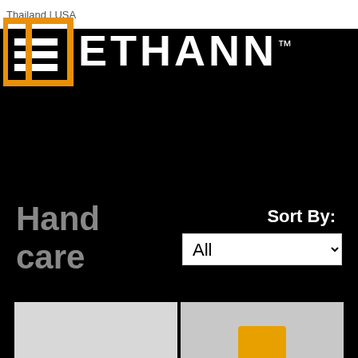Thailand | USA
[Figure (logo): ETHANN brand logo with orange square icon and white bold ETHANN lettering with TM mark]
Hand care
Sort By:
[Figure (screenshot): Dropdown selector showing 'All' option for Sort By filter]
[Figure (photo): Product images strip at bottom of page showing two product thumbnails on grey background, one with a yellow product bottle visible]